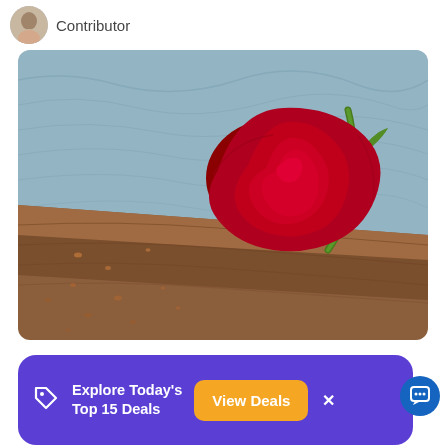Contributor
[Figure (photo): A red rose resting on a wet wooden boat railing with water visible in the background]
[Figure (infographic): Purple advertisement banner: 'Explore Today's Top 15 Deals' with an orange 'View Deals' button and a close X button]
15th anniversary cruises are a great way to honor the years